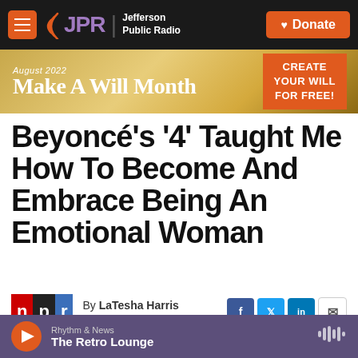[Figure (screenshot): JPR Jefferson Public Radio navigation bar with hamburger menu, logo, and Donate button]
[Figure (infographic): August 2022 Make A Will Month banner advertisement - CREATE YOUR WILL FOR FREE!]
Beyoncé's '4' Taught Me How To Become And Embrace Being An Emotional Woman
By LaTesha Harris
Published June 24, 2021
[Figure (logo): NPR logo]
[Figure (screenshot): Social sharing buttons: Facebook, Twitter, LinkedIn, Email]
[Figure (screenshot): Audio player bar: Rhythm & News - The Retro Lounge]